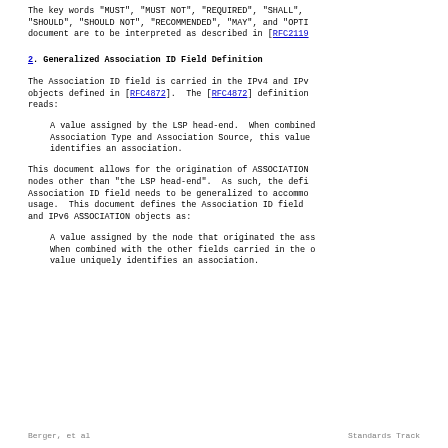The key words "MUST", "MUST NOT", "REQUIRED", "SHALL", "SHOULD", "SHOULD NOT", "RECOMMENDED", "MAY", and "OPTI document are to be interpreted as described in [RFC2119].
2. Generalized Association ID Field Definition
The Association ID field is carried in the IPv4 and IPv objects defined in [RFC4872].  The [RFC4872] definition reads:
A value assigned by the LSP head-end.  When combined Association Type and Association Source, this value identifies an association.
This document allows for the origination of ASSOCIATION nodes other than "the LSP head-end".  As such, the defi Association ID field needs to be generalized to accommo usage.  This document defines the Association ID field and IPv6 ASSOCIATION objects as:
A value assigned by the node that originated the ass When combined with the other fields carried in the o value uniquely identifies an association.
Berger, et al                    Standards Track